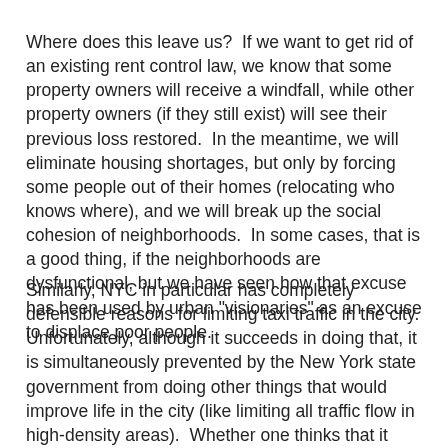Where does this leave us?  If we want to get rid of an existing rent control law, we know that some property owners will receive a windfall, while other property owners (if they still exist) will see their previous loss restored.  In the meantime, we will eliminate housing shortages, but only by forcing some people out of their homes (relocating who knows where), and we will break up the social cohesion of neighborhoods.  In some cases, that is a good thing, if the neighborhoods are dysfunctional, but we have seen how that excuse has been used by urban "visionaries" as an excuse to displace poor people.
Similarly, NYC in particular has completely defensible reasons for limiting taxi traffic in the city.  Unfortunately, although it succeeds in doing that, it is simultaneously prevented by the New York state government from doing other things that would improve life in the city (like limiting all traffic flow in high-density areas).  Whether one thinks that it would be acceptable to change the underlying laws that indirectly support the price of taxi medallions -- and thus whether one thinks that it would be OK to pull the rug out